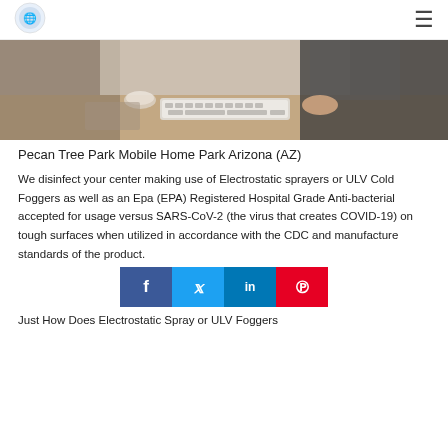[Figure (logo): Small circular company logo with blue icon]
[Figure (photo): Photo of people working at a desk with a keyboard and laptop, office setting]
Pecan Tree Park Mobile Home Park Arizona (AZ)
We disinfect your center making use of Electrostatic sprayers or ULV Cold Foggers as well as an Epa (EPA) Registered Hospital Grade Anti-bacterial accepted for usage versus SARS-CoV-2 (the virus that creates COVID-19) on tough surfaces when utilized in accordance with the CDC and manufacture standards of the product.
[Figure (infographic): Social media share buttons: Facebook, Twitter, LinkedIn, Pinterest]
Just How Does Electrostatic Spray or ULV Foggers